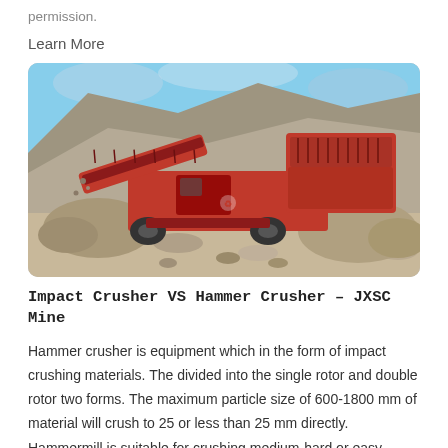permission.
Learn More
[Figure (photo): A red mobile impact/hammer crusher machine working on a large pile of crushed stone aggregate outdoors. The machine has a conveyor belt and several red processing units, surrounded by gravel and rock piles under a blue sky.]
Impact Crusher VS Hammer Crusher – JXSC Mine
Hammer crusher is equipment which in the form of impact crushing materials. The divided into the single rotor and double rotor two forms. The maximum particle size of 600-1800 mm of material will crush to 25 or less than 25 mm directly. Hammermill is suitable for crushing medium-hard or easy-crushing materials.